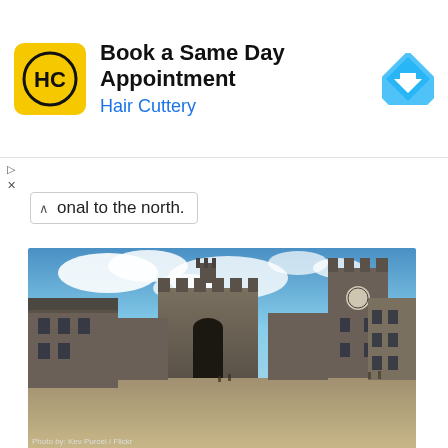[Figure (infographic): Hair Cuttery advertisement banner: yellow square logo with HC text, 'Book a Same Day Appointment' heading, 'Hair Cuttery' subtitle in blue, blue navigation arrow icon on right]
onal to the north.
[Figure (photo): Panoramic photograph of Edinburgh Castle inner courtyard showing stone buildings, large tower on right, cobblestone square. Photo credit: Kev Purcel / Flickr]
On the eastern side of the square is the Royal Palace , built during the 15th and 16th centuries. The Palace was the official royal residence of the later Stewart kings and queens. For kings and queens the palace was a richly